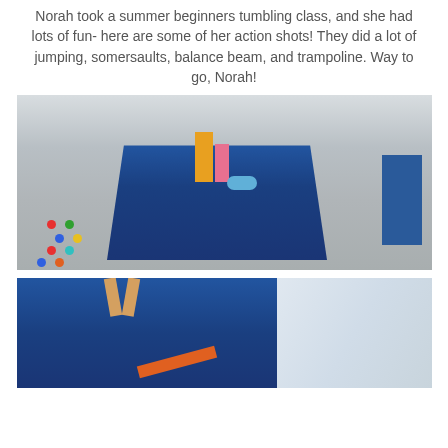Norah took a summer beginners tumbling class, and she had lots of fun- here are some of her action shots! They did a lot of jumping, somersaults, balance beam, and trampoline. Way to go, Norah!
[Figure (photo): Interior of a gymnastics gym showing a large blue floor mat in the center, colorful dots on the left side of the floor, a gymnastics instructor in yellow shirt standing with two young children (one lying on the mat), blue padded wall panels, a door, and equipment on the right side.]
[Figure (photo): Partial view of a gymnastics gym showing a child's legs in the air (jumping or doing a somersault) above a blue floor mat, with bright light on the right side of the frame and what appears to be an orange bar or equipment piece visible.]